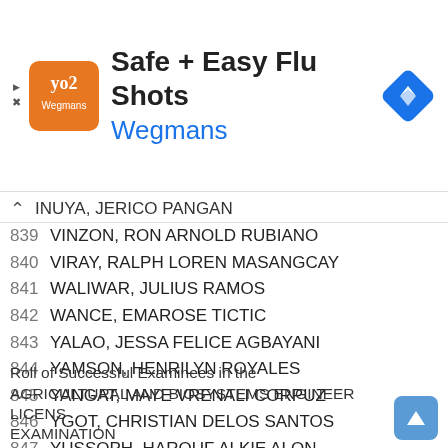[Figure (other): Advertisement banner: Safe + Easy Flu Shots by Wegmans with orange logo and blue navigation arrow icon]
INUYA, JERICO PANGAN
839 VINZON, RON ARNOLD RUBIANO
840 VIRAY, RALPH LOREN MASANGCAY
841 WALIWAR, JULIUS RAMOS
842 WANCE, EMAROSE TICTIC
843 YALAO, JESSA FELICE AGBAYANI
844 YAMSON, HENRILYN ROYALES
845 YANGAT, MAYE VRENALI CORPUZ
846 YGOT, CHRISTIAN DELOS SANTOS
847 YUSSOPH, HAROUF ALKIE ALON
848 ZABALA, MELODY DELA CRUZ
849 ZACARIA, NAWAWI AMILBANGSA
850 ZAMORA, MARIAN MACY TEJADA
Roll of Successful Examinees in the AGRICULTURAL AND BIOSYSTEMS ENGINEER LICENSURE EXAMINATION